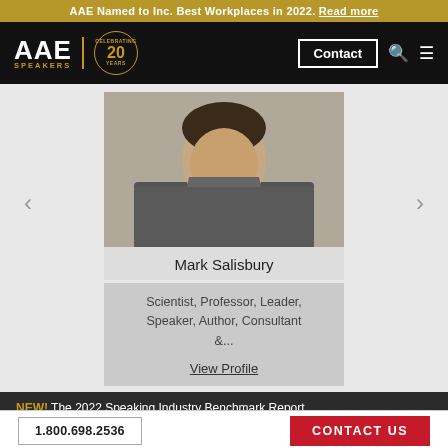AAE Named to Inc. Best Workplaces in 2022. Read more
[Figure (logo): AAE Speakers logo with 20 Years Celebrating badge, Contact button, search and menu icons on black nav bar]
[Figure (photo): Headshot photo of Mark Salisbury, a man in a dark turtleneck and grey blazer]
Mark Salisbury
Scientist, Professor, Leader, Speaker, Author, Consultant &...
View Profile
NEW! The 2022 Speaking Industry Benchmark Report
1.800.698.2536   CONTACT US